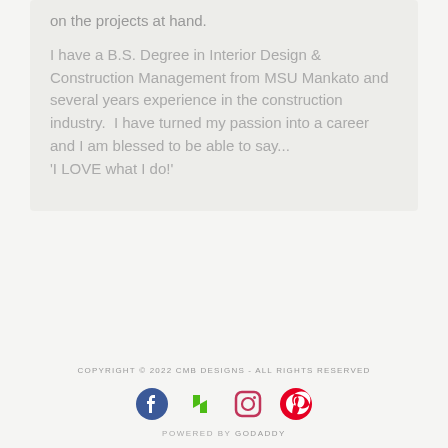on the projects at hand.
I have a B.S. Degree in Interior Design & Construction Management from MSU Mankato and several years experience in the construction industry.  I have turned my passion into a career and I am blessed to be able to say...
'I LOVE what I do!'
COPYRIGHT © 2022 CMB DESIGNS - ALL RIGHTS RESERVED
[Figure (logo): Social media icons: Facebook (blue), Houzz (green), Instagram (pinkish-red outline), Pinterest (red)]
POWERED BY GODADDY